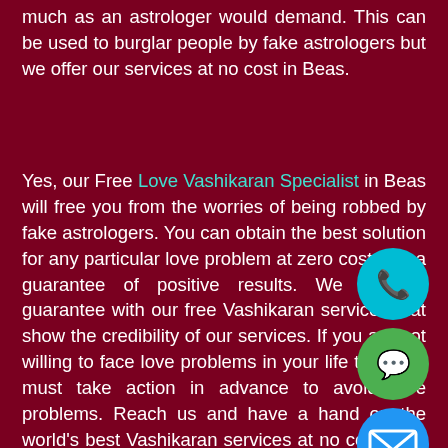much as an astrologer would demand. This can be used to burglar people by fake astrologers but we offer our services at no cost in Beas.
Yes, our Free Love Vashikaran Specialist in Beas will free you from the worries of being robbed by fake astrologers. You can obtain the best solution for any particular love problem at zero cost with a guarantee of positive results. We offer a guarantee with our free Vashikaran services that show the credibility of our services. If you are not willing to face love problems in your life then you must take action in advance to avoid love problems. Reach us and have a hand on the world's best Vashikaran services at no cost at all and enjoy your love life.
[Figure (infographic): Floating action buttons: phone (teal), WhatsApp (green), email (blue), close (orange) overlaid on the right side of the text]